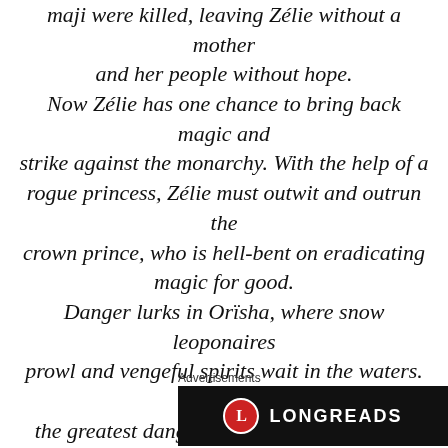maji were killed, leaving Zélie without a mother and her people without hope. Now Zélie has one chance to bring back magic and strike against the monarchy. With the help of a rogue princess, Zélie must outwit and outrun the crown prince, who is hell-bent on eradicating magic for good. Danger lurks in Orïsha, where snow leoponaires prowl and vengeful spirits wait in the waters. Yet the greatest danger may be Zélie herself as she struggles to control her powers and her growing feelings for an enemy.
Advertisements
[Figure (logo): Longreads logo on dark background — red circle with white L, followed by LONGREADS in white capitals]